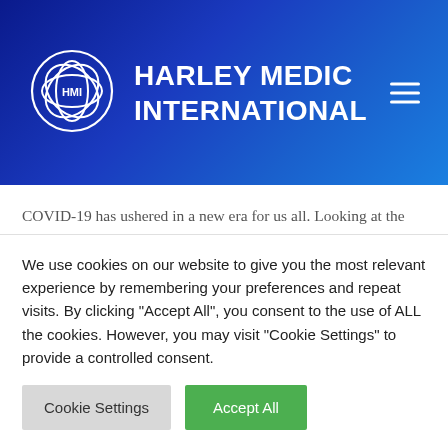HARLEY MEDIC INTERNATIONAL
COVID-19 has ushered in a new era for us all. Looking at the forced closure of my business was shocking at first. With the helpful pressure of a persistent patient, I successfully treated him remotely via a video link on the first day of lockdown. It all comes down to a careful
We use cookies on our website to give you the most relevant experience by remembering your preferences and repeat visits. By clicking "Accept All", you consent to the use of ALL the cookies. However, you may visit "Cookie Settings" to provide a controlled consent.